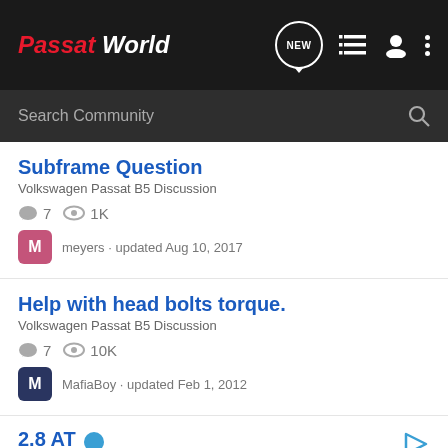Passat World
Search Community
Subframe Question
Volkswagen Passat B5 Discussion
7 replies · 1K views
meyers · updated Aug 10, 2017
Help with head bolts torque.
Volkswagen Passat B5 Discussion
7 replies · 10K views
MafiaBoy · updated Feb 1, 2012
2.8 AT
B5 Gara